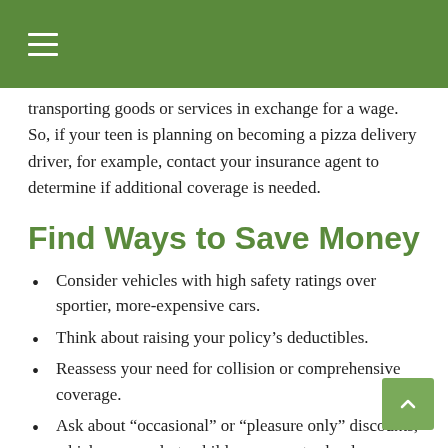transporting goods or services in exchange for a wage. So, if your teen is planning on becoming a pizza delivery driver, for example, contact your insurance agent to determine if additional coverage is needed.
Find Ways to Save Money
Consider vehicles with high safety ratings over sportier, more-expensive cars.
Think about raising your policy's deductibles.
Reassess your need for collision or comprehensive coverage.
Ask about “occasional” or “pleasure only” discounts, which may apply to children away at school.